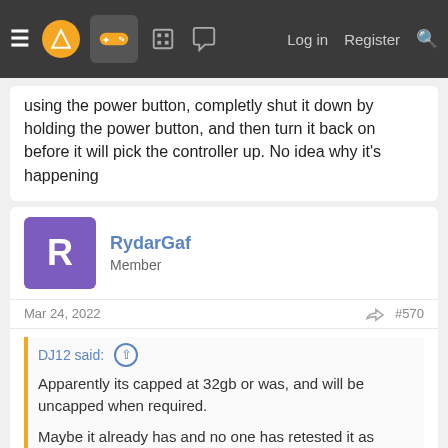Navigation bar with menu, logo, gamepad icon, forum icons, Log in, Register, Search
using the power button, completly shut it down by holding the power button, and then turn it back on before it will pick the controller up. No idea why it's happening
RydarGaf
Member
Mar 24, 2022   #570
DJ12 said: ↑

Apparently its capped at 32gb or was, and will be uncapped when required.

Maybe it already has and no one has retested it as rachet and clank looks as good in 120hz mode as it does in 60hz
Sony is stubborn as f*UK.